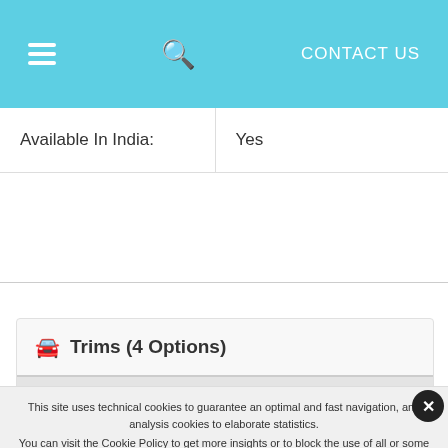CONTACT US
| Available In India: | Yes |
Trims (4 Options)
This site uses technical cookies to guarantee an optimal and fast navigation, and analysis cookies to elaborate statistics. You can visit the Cookie Policy to get more insights or to block the use of all or some cookies, by selecting the Cookie Settings. By choosing Accept, you give your permission to use the abovementioned cookies.
I ACCEPT  MY PREFERENCES  I DECLINE
Privacy Center  Privacy Settings  Cookie Policy